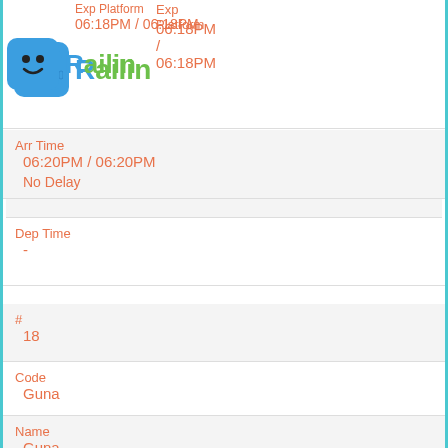Exp Platform
06:18PM / 06:18PM
[Figure (logo): Railin app logo with blue smiling face icon and Railin text]
Arr Time
06:20PM / 06:20PM
No Delay
Dep Time
-
#
18
Code
Guna
Name
Guna
Exp Platform
09:10PM / 09:10PM
No Delay
Arr Time
09:20PM / 09:20PM